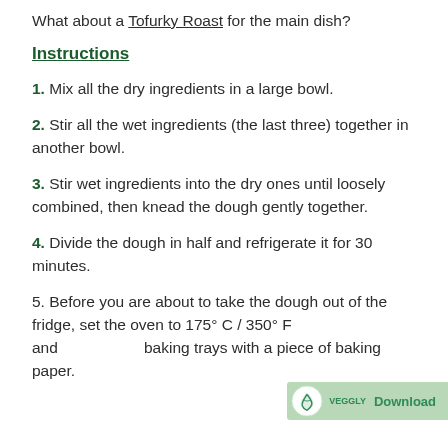What about a Tofurky Roast for the main dish?
Instructions
1. Mix all the dry ingredients in a large bowl.
2. Stir all the wet ingredients (the last three) together in another bowl.
3. Stir wet ingredients into the dry ones until loosely combined, then knead the dough gently together.
4. Divide the dough in half and refrigerate it for 30 minutes.
5. Before you are about to take the dough out of the fridge, set the oven to 175° C / 350° F and baking trays with a piece of baking paper.
[Figure (logo): Veggly logo with Download button overlay]